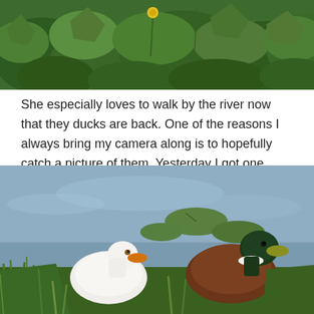[Figure (photo): Partial top photo of green vegetation with yellow flowers and dense leafy plants along a riverbank or garden area.]
She especially loves to walk by the river now that they ducks are back. One of the reasons I always bring my camera along is to hopefully catch a picture of them. Yesterday I got one.
[Figure (photo): Two ducks standing by a river's edge on green grass with lily pads and water in the background. One duck is white with an orange bill, the other is a mallard-type with a dark green head, white collar ring, and brown body.]